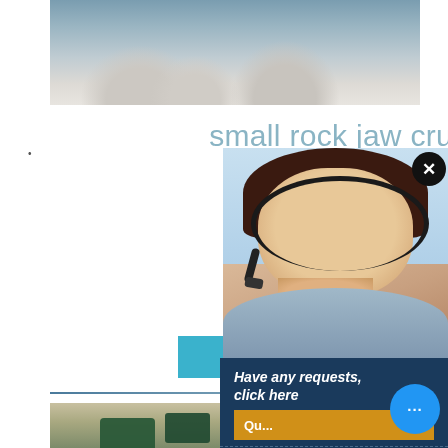[Figure (photo): Top portion of stone/rock crushing machinery with gray rocky material visible]
small rock jaw crusher machine sand making machine
small stone crusher , jaw rock crusher price. $1,500 Set. 1.0 Sets (Min. Order) 11 YRS CN. Supplier. 3. Supplier. Compare. When the moving jaw is up, the lining plate and moving jaw becomes large, and this
CHAT ONLINE
[Figure (photo): Customer service representative (woman with headset/microphone) smiling]
Have any requests, click here
Enquiry
limingjlmofen@sina.com
[Figure (photo): Bottom image showing industrial crushing/mining equipment with green machinery]